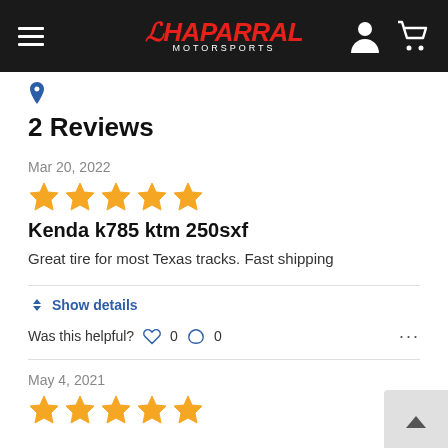Chaparral Motorsports
2 Reviews
Mar 20, 2022
[Figure (other): 5 gold stars rating]
Kenda k785 ktm 250sxf
Great tire for most Texas tracks. Fast shipping
Show details
Was this helpful? 0 0
May 4, 2021
[Figure (other): 5 gold stars rating]